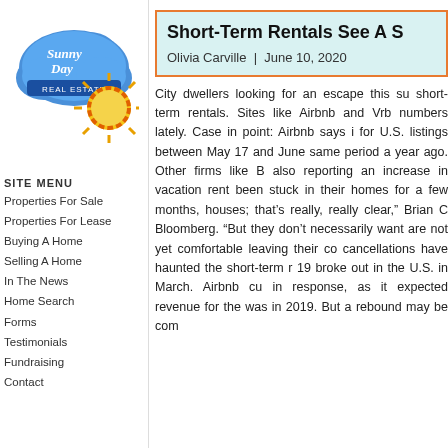[Figure (logo): Sunny Day Real Estate logo with cloud and sun]
SITE MENU
Properties For Sale
Properties For Lease
Buying A Home
Selling A Home
In The News
Home Search
Forms
Testimonials
Fundraising
Contact
Short-Term Rentals See A S
Olivia Carville  |  June 10, 2020
City dwellers looking for an escape this su short-term rentals. Sites like Airbnb and Vrb numbers lately. Case in point: Airbnb says i for U.S. listings between May 17 and June same period a year ago. Other firms like B also reporting an increase in vacation rent been stuck in their homes for a few months, houses; that's really, really clear," Brian C Bloomberg. "But they don't necessarily want are not yet comfortable leaving their co cancellations have haunted the short-term r 19 broke out in the U.S. in March. Airbnb cu in response, as it expected revenue for the was in 2019. But a rebound may be com